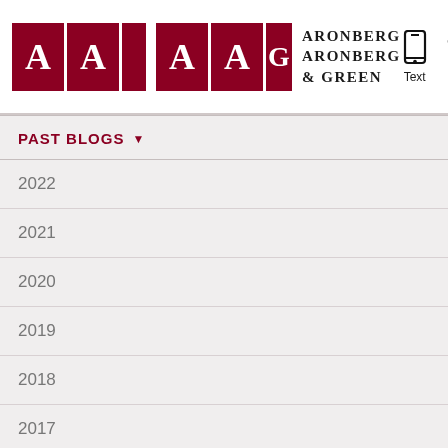Aronberg Aronberg & Green — Logo and navigation header with Text and Call icons
PAST BLOGS ▼
2022
2021
2020
2019
2018
2017
2016
2015
2014